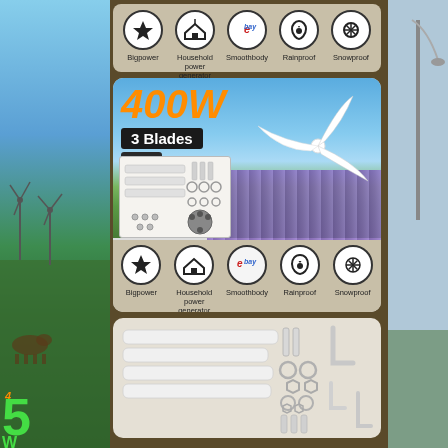[Figure (photo): Top strip showing five feature icons: Bigpower (lightning bolt), Household power generator (house), Smoothbody (snowflake/fan), Rainproof (water drop), Snowproof (snowflake) in circular borders with labels beneath]
[Figure (photo): 400W 3 Blades 12V wind turbine product card with outdoor background of purple flower field and sky, overlaid with orange 400W text, '3 Blades' and '12V' black labels, inset parts image, and five feature icons strip at bottom: Bigpower, Household power generator, Smoothbody, Rainproof, Snowproof]
[Figure (photo): Wind turbine assembly parts laid out: white blades, bolts/screws, washers/rings, nuts, hex wrench tools on light background]